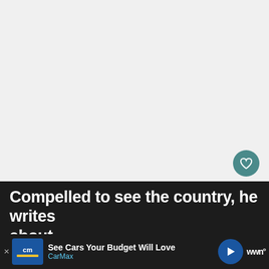[Figure (screenshot): Large white/light gray content area representing a webpage article with blank main content area. Contains a teal heart/favorite button and a white share button on the right side.]
[Figure (screenshot): What's Next card in bottom-right showing a book cover thumbnail for road trips audiobooks with text 'WHAT'S NEXT → 30 Of The Best Audiobooks...' and ellipsis dots below.]
Compelled to see the country, he writes about
[Figure (screenshot): Advertisement bar at bottom: CarMax ad with text 'See Cars Your Budget Will Love' and CarMax branding, blue navigation arrow icon, and WNN logo on the right.]